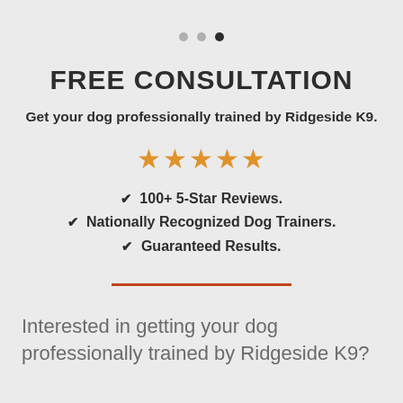[Figure (other): Three pagination dots, two inactive grey and one active dark, indicating a carousel or slideshow position]
FREE CONSULTATION
Get your dog professionally trained by Ridgeside K9.
[Figure (other): Five orange star rating symbols]
100+ 5-Star Reviews.
Nationally Recognized Dog Trainers.
Guaranteed Results.
[Figure (other): Horizontal orange-red divider line]
Interested in getting your dog professionally trained by Ridgeside K9?